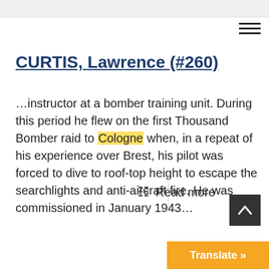CURTIS, Lawrence (#260)
…instructor at a bomber training unit. During this period he flew on the first Thousand Bomber raid to Cologne when, in a repeat of his experience over Brest, his pilot was forced to dive to roof-top height to escape the searchlights and anti-aircraft fire. He was commissioned in January 1943…
Read more